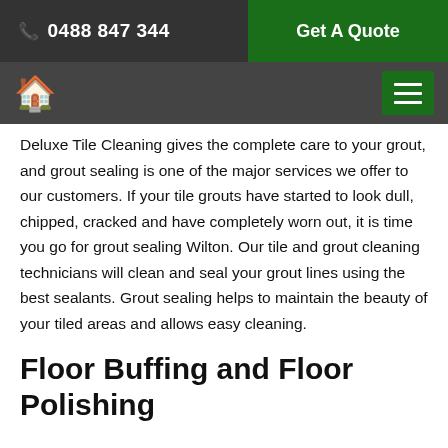📞 0488 847 344  |  Get A Quote
🏠  ≡
Deluxe Tile Cleaning gives the complete care to your grout, and grout sealing is one of the major services we offer to our customers. If your tile grouts have started to look dull, chipped, cracked and have completely worn out, it is time you go for grout sealing Wilton. Our tile and grout cleaning technicians will clean and seal your grout lines using the best sealants. Grout sealing helps to maintain the beauty of your tiled areas and allows easy cleaning.
Floor Buffing and Floor Polishing